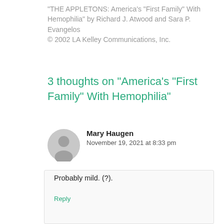“THE APPLETONS: America’s “First Family” With Hemophilia” by Richard J. Atwood and Sara P. Evangelos
© 2002 LA Kelley Communications, Inc.
3 thoughts on “America’s “First Family” With Hemophilia”
Mary Haugen
November 19, 2021 at 8:33 pm
Probably mild. (?).
Reply